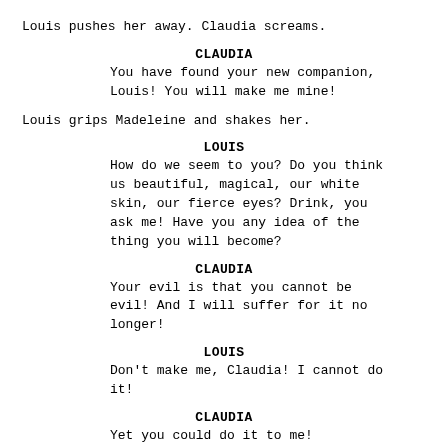Louis pushes her away. Claudia screams.
CLAUDIA
You have found your new companion, Louis! You will make me mine!
Louis grips Madeleine and shakes her.
LOUIS
How do we seem to you? Do you think us beautiful, magical, our white skin, our fierce eyes? Drink, you ask me! Have you any idea of the thing you will become?
CLAUDIA
Your evil is that you cannot be evil! And I will suffer for it no longer!
LOUIS
Don't make me, Claudia! I cannot do it!
CLAUDIA
Yet you could do it to me! Snatching me from my mother's hands like two monsters in a fairy-tale! Couldn't you have waited? Six more years and I would have had that shape! And now you weep! You haven't tears enough for what